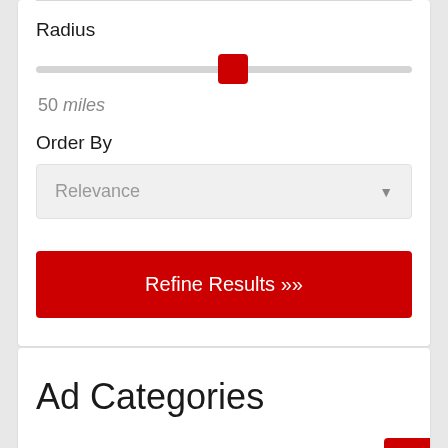Radius
[Figure (other): A horizontal slider control with a red square thumb positioned at the midpoint, on a light gray track. Shows value of 50 miles below.]
50 miles
Order By
Relevance
Refine Results ››
Ad Categories